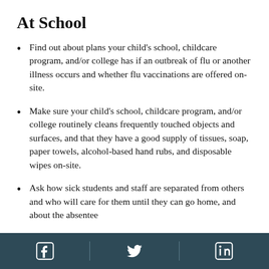At School
Find out about plans your child’s school, childcare program, and/or college has if an outbreak of flu or another illness occurs and whether flu vaccinations are offered on-site.
Make sure your child’s school, childcare program, and/or college routinely cleans frequently touched objects and surfaces, and that they have a good supply of tissues, soap, paper towels, alcohol-based hand rubs, and disposable wipes on-site.
Ask how sick students and staff are separated from others and who will care for them until they can go home, and about the absentee policy for students and staff.
Social media icons: Facebook, Twitter, LinkedIn